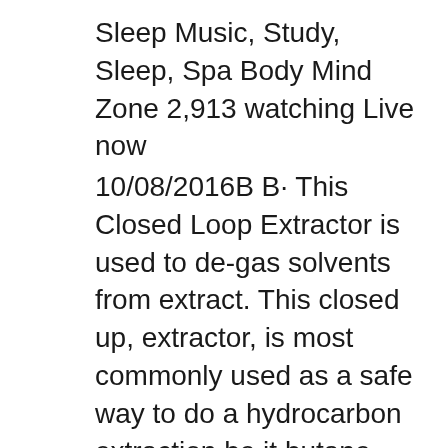Sleep Music, Study, Sleep, Spa Body Mind Zone 2,913 watching Live now
10/08/2016B B· This Closed Loop Extractor is used to de-gas solvents from extract. This closed up, extractor, is most commonly used as a safe way to do a hydrocarbon extraction be it butane, propane, ether 20/01/2018B B· ABLAZE Mini Closed Loop Extractor with Splatter Platter and Sight Window - - Amazon.com Skip to main content. Try Prime EN Hello, Sign in Account & Lists
High Quality Closed Loop Extractor Systems Short Path Distillation Closed Loop Extraction Equipment - the official closed loop extractor site, closed loop